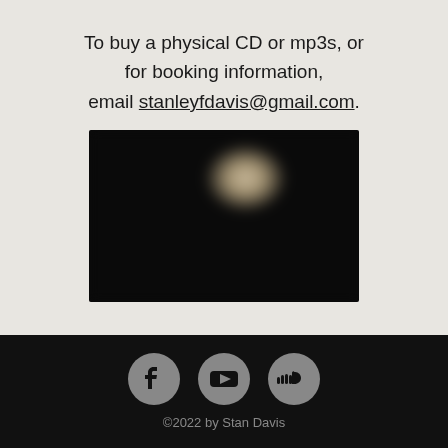To buy a physical CD or mp3s, or for booking information, email stanleyfdavis@gmail.com.
[Figure (photo): Blurred/dark photo of a person playing guitar, wearing a red outfit, against a black background]
[Figure (infographic): Social media icons: Facebook, YouTube, SoundCloud in gray circles on black background]
©2022 by Stan Davis